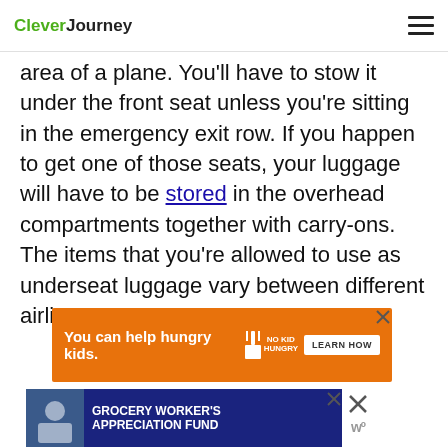CleverJourney
area of a plane. You'll have to stow it under the front seat unless you're sitting in the emergency exit row. If you happen to get one of those seats, your luggage will have to be stored in the overhead compartments together with carry-ons. The items that you're allowed to use as underseat luggage vary between different airlines.
[Figure (other): Orange advertisement banner: 'You can help hungry kids. NO KID HUNGRY LEARN HOW']
[Figure (other): Blue advertisement banner: 'GROCERY WORKER'S APPRECIATION FUND' with Kendall-Jackson and United Way logos]